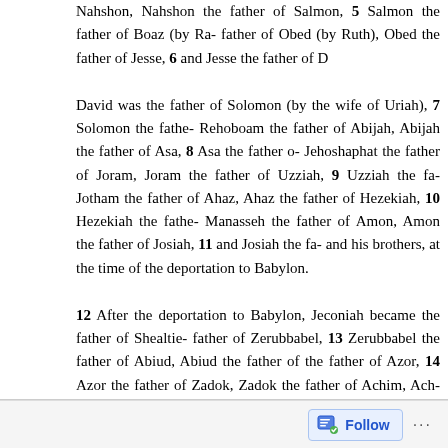Nahshon, Nahshon the father of Salmon, 5 Salmon the father of Boaz (by Ra- father of Obed (by Ruth), Obed the father of Jesse, 6 and Jesse the father of D
David was the father of Solomon (by the wife of Uriah), 7 Solomon the fathe- Rehoboam the father of Abijah, Abijah the father of Asa, 8 Asa the father o- Jehoshaphat the father of Joram, Joram the father of Uzziah, 9 Uzziah the fa- Jotham the father of Ahaz, Ahaz the father of Hezekiah, 10 Hezekiah the fathe- Manasseh the father of Amon, Amon the father of Josiah, 11 and Josiah the fa- and his brothers, at the time of the deportation to Babylon.
12 After the deportation to Babylon, Jeconiah became the father of Shealtie- father of Zerubbabel, 13 Zerubbabel the father of Abiud, Abiud the father of - the father of Azor, 14 Azor the father of Zadok, Zadok the father of Achim, Ach- Eliud, 15 Eliud the father of Eleazar, Eleazar the father of Matthan, Mattha- Jacob, 16 and Jacob the father of Joseph, the husband of Mary, by whom J- who is called Christ.
17 So all the generations from Abraham to David are fourteen generations, an- the deportation to Babylon, fourteen generations, and from the deportation- Christ, fourteen generations.
Follow ...